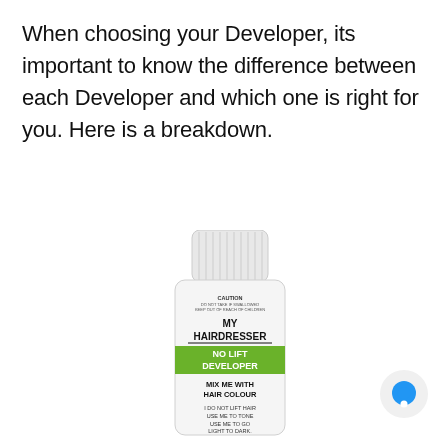When choosing your Developer, its important to know the difference between each Developer and which one is right for you. Here is a breakdown.
[Figure (photo): A white bottle of My Hairdresser No Lift Developer hair product with a green label band, showing text: CAUTION, MY HAIRDRESSER, NO LIFT DEVELOPER, MIX ME WITH HAIR COLOUR, I DO NOT LIFT HAIR, USE ME TO TONE, USE ME TO GO LIGHT TO DARK.]